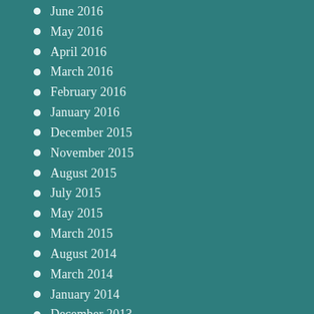June 2016
May 2016
April 2016
March 2016
February 2016
January 2016
December 2015
November 2015
August 2015
July 2015
May 2015
March 2015
August 2014
March 2014
January 2014
December 2013
November 2013
August 2013
July 2013